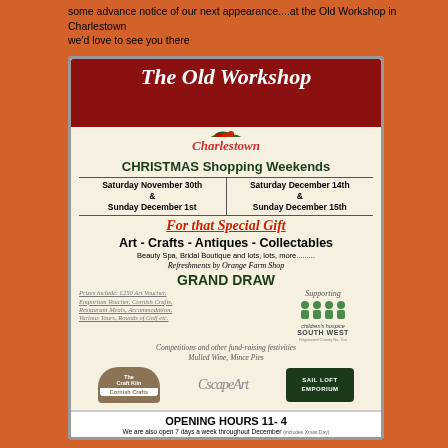some advance notice of our next appearance....at the Old Workshop in Charlestown we'd love to see you there
[Figure (infographic): Promotional flyer for The Old Workshop Charlestown Christmas Shopping Weekends, featuring event dates, offerings, grand draw prizes, supporting charities, logos and opening hours]